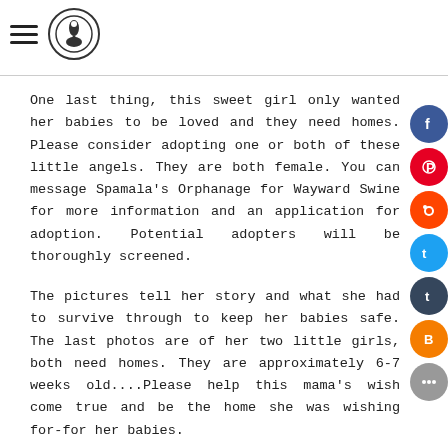Navigation menu and logo
One last thing, this sweet girl only wanted her babies to be loved and they need homes. Please consider adopting one or both of these little angels. They are both female. You can message Spamala's Orphanage for Wayward Swine for more information and an application for adoption. Potential adopters will be thoroughly screened.
The pictures tell her story and what she had to survive through to keep her babies safe. The last photos are of her two little girls, both need homes. They are approximately 6-7 weeks old....Please help this mama's wish come true and be the home she was wishing for-for her babies.